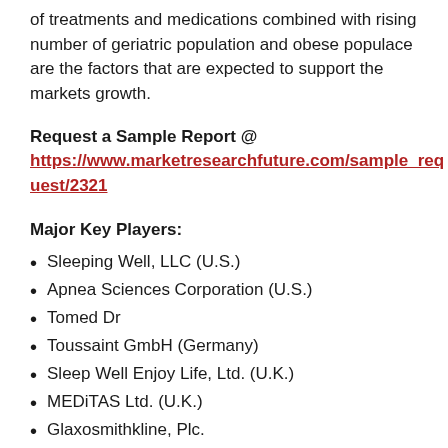of treatments and medications combined with rising number of geriatric population and obese populace are the factors that are expected to support the markets growth.
Request a Sample Report @ https://www.marketresearchfuture.com/sample_request/2321
Major Key Players:
Sleeping Well, LLC (U.S.)
Apnea Sciences Corporation (U.S.)
Tomed Dr
Toussaint GmbH (Germany)
Sleep Well Enjoy Life, Ltd. (U.K.)
MEDiTAS Ltd. (U.K.)
Glaxosmithkline, Plc.
SomnoMed Ltd
Sleep Science Partners Inc